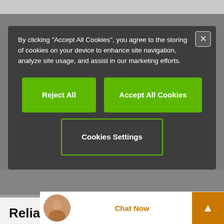By clicking "Accept All Cookies", you agree to the storing of cookies on your device to enhance site navigation, analyze site usage, and assist in our marketing efforts.
Reject All
Accept All Cookies
Cookies Settings
Reliable & safe
igus® - producer and supplier for all branches of industry
The igus® promise of ...
Chat Now